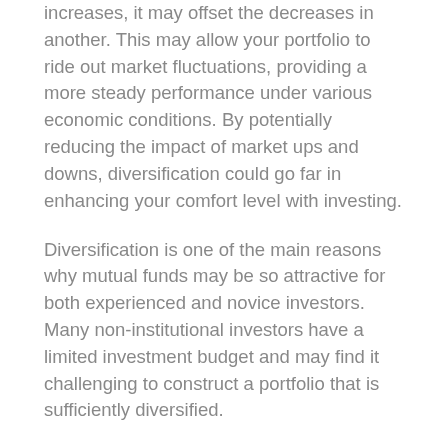increases, it may offset the decreases in another. This may allow your portfolio to ride out market fluctuations, providing a more steady performance under various economic conditions. By potentially reducing the impact of market ups and downs, diversification could go far in enhancing your comfort level with investing.
Diversification is one of the main reasons why mutual funds may be so attractive for both experienced and novice investors. Many non-institutional investors have a limited investment budget and may find it challenging to construct a portfolio that is sufficiently diversified.
For a modest initial investment, you can purchase shares in a diversified portfolio of securities. You have “built-in” diversification. Depending on the objectives of the fund, it may contain a variety of stocks, bonds, and cash vehicles, or a combination of them.